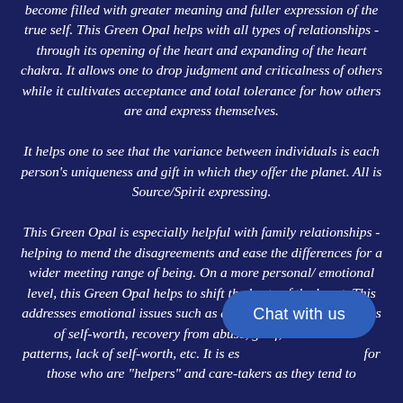become filled with greater meaning and fuller expression of the true self. This Green Opal helps with all types of relationships - through its opening of the heart and expanding of the heart chakra. It allows one to drop judgment and criticalness of others while it cultivates acceptance and total tolerance for how others are and express themselves.
It helps one to see that the variance between individuals is each person's uniqueness and gift in which they offer the planet. All is Source/Spirit expressing.
This Green Opal is especially helpful with family relationships - helping to mend the disagreements and ease the differences for a wider meeting range of being. On a more personal/ emotional level, this Green Opal helps to shift the hurts of the heart. This addresses emotional issues such as abandonment, rejection, loss of self-worth, recovery from abuse, grief, eliminating patterns, lack of self-worth, etc. It is especially good for those who are "helpers" and care-takers as they tend to
Chat with us